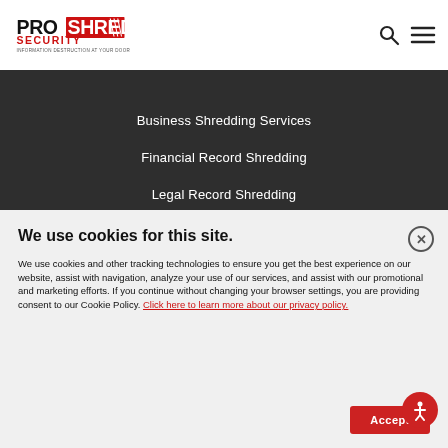[Figure (logo): PROSHRED SECURITY logo - black and red text with tagline 'INFORMATION DESTRUCTION AT YOUR DOOR']
Business Shredding Services
Financial Record Shredding
Legal Record Shredding
We use cookies for this site.
We use cookies and other tracking technologies to ensure you get the best experience on our website, assist with navigation, analyze your use of our services, and assist with our promotional and marketing efforts. If you continue without changing your browser settings, you are providing consent to our Cookie Policy. Click here to learn more about our privacy policy.